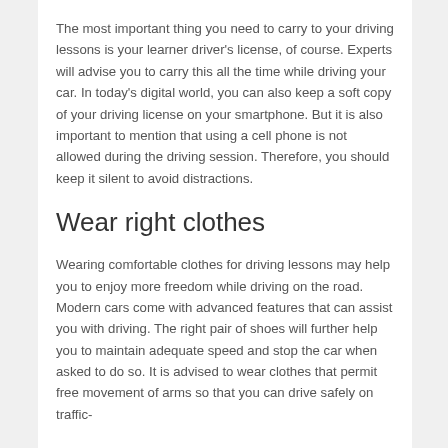The most important thing you need to carry to your driving lessons is your learner driver's license, of course. Experts will advise you to carry this all the time while driving your car. In today's digital world, you can also keep a soft copy of your driving license on your smartphone. But it is also important to mention that using a cell phone is not allowed during the driving session. Therefore, you should keep it silent to avoid distractions.
Wear right clothes
Wearing comfortable clothes for driving lessons may help you to enjoy more freedom while driving on the road. Modern cars come with advanced features that can assist you with driving. The right pair of shoes will further help you to maintain adequate speed and stop the car when asked to do so. It is advised to wear clothes that permit free movement of arms so that you can drive safely on traffic-